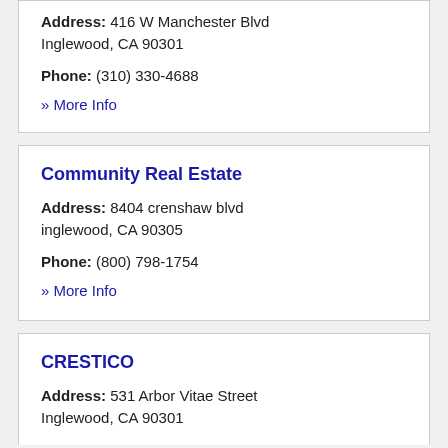Address: 416 W Manchester Blvd Inglewood, CA 90301
Phone: (310) 330-4688
» More Info
Community Real Estate
Address: 8404 crenshaw blvd inglewood, CA 90305
Phone: (800) 798-1754
» More Info
CRESTICO
Address: 531 Arbor Vitae Street Inglewood, CA 90301